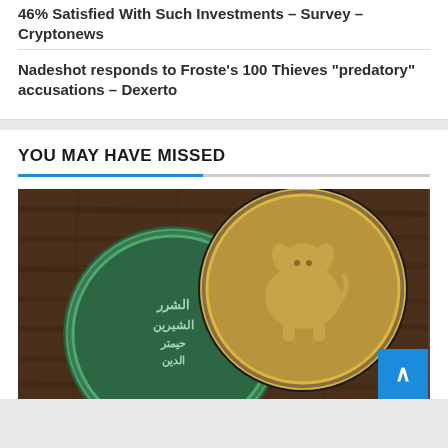46% Satisfied With Such Investments – Survey – Cryptonews
Nadeshot responds to Froste's 100 Thieves "predatory" accusations – Dexerto
YOU MAY HAVE MISSED
[Figure (photo): Two antique coins on a wooden surface. One coin has Arabic script inscription (green/teal patina), and another coin features a deity figure (gold/bronze color).]